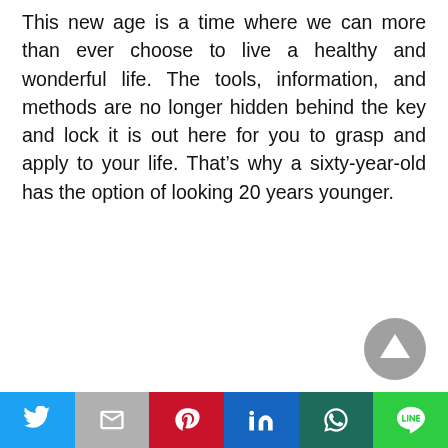This new age is a time where we can more than ever choose to live a healthy and wonderful life. The tools, information, and methods are no longer hidden behind the key and lock it is out here for you to grasp and apply to your life. That's why a sixty-year-old has the option of looking 20 years younger.
[Figure (other): Gray circular scroll-to-top button with an upward pointing triangle/arrow icon in the bottom-right area of the page]
Social share bar with Twitter, Gmail, Pinterest, LinkedIn, WhatsApp, LINE buttons